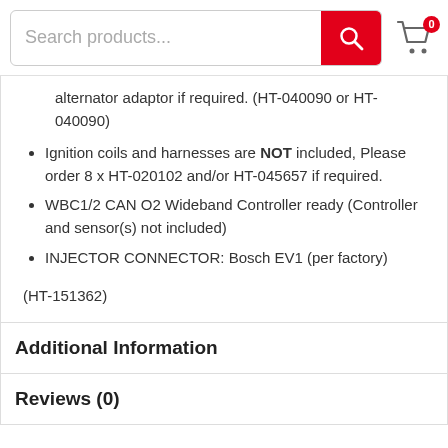Search products...
alternator adaptor if required. (HT-040090 or HT-040090)
Ignition coils and harnesses are NOT included, Please order 8 x HT-020102 and/or HT-045657 if required.
WBC1/2 CAN O2 Wideband Controller ready (Controller and sensor(s) not included)
INJECTOR CONNECTOR: Bosch EV1 (per factory)
(HT-151362)
Additional Information
Reviews (0)